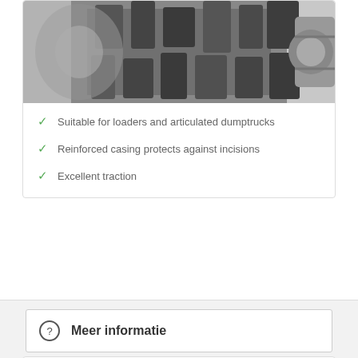[Figure (photo): Grayscale close-up photo of a heavy-duty tire tread pattern for loaders/articulated dumptrucks, partially cropped at top]
Suitable for loaders and articulated dumptrucks
Reinforced casing protects against incisions
Excellent traction
Meer informatie
BBE02
[Figure (photo): Grayscale photo of a heavy-duty tire for the BBE02 product, partially visible at bottom of page]